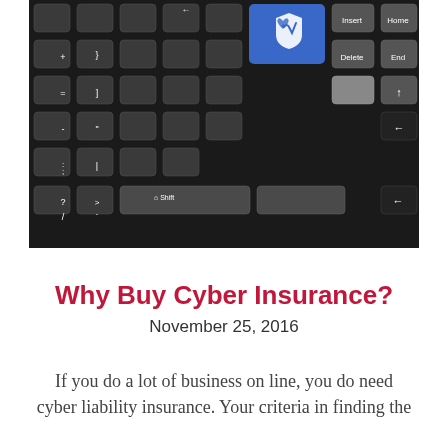[Figure (photo): Close-up photograph of a dark keyboard with a blue key featuring a white shield and heartbeat/medical symbol icon, surrounded by standard keyboard keys including Home, Insert, End, Delete, Shift, and arrow keys.]
Why Buy Cyber Insurance?
November 25, 2016
If you do a lot of business on line, you do need cyber liability insurance. Your criteria in finding the